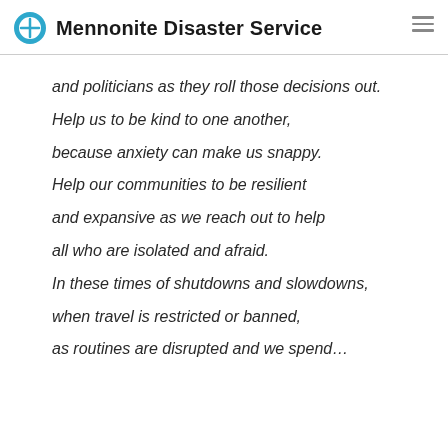Mennonite Disaster Service
and politicians as they roll those decisions out.

Help us to be kind to one another,

because anxiety can make us snappy.

Help our communities to be resilient

and expansive as we reach out to help

all who are isolated and afraid.

In these times of shutdowns and slowdowns,

when travel is restricted or banned,

as routines are disrupted and we spend…